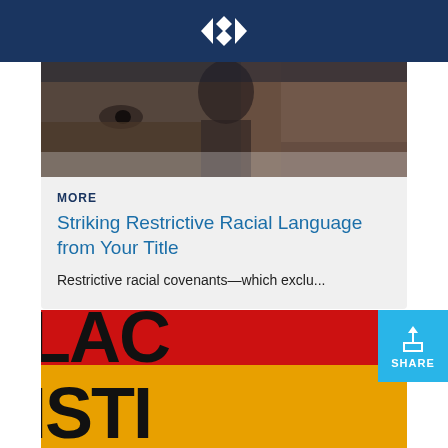[Figure (photo): Close-up photograph of a person's face, partially visible, dark toned]
MORE
Striking Restrictive Racial Language from Your Title
Restrictive racial covenants—which exclu...
[Figure (photo): Colorful graphic with large bold text reading 'BLACK' in red and yellow/orange horizontal stripe design]